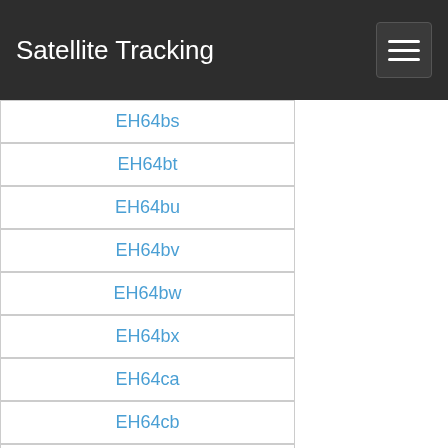Satellite Tracking
EH64bs
EH64bt
EH64bu
EH64bv
EH64bw
EH64bx
EH64ca
EH64cb
EH64cc
EH64cd
EH64ce
EH64cf
EH64cg
EH64ch
EH64ci
EH64cj
EH64ck
EH64cl